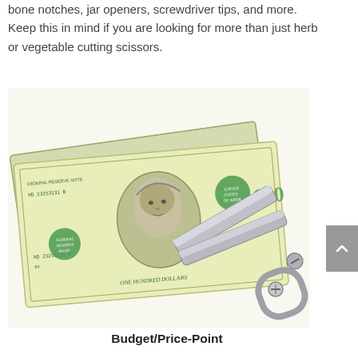bone notches, jar openers, screwdriver tips, and more.  Keep this in mind if you are looking for more than just herb or vegetable cutting scissors.
[Figure (photo): Photo of a stack of US $100 dollar bills with a pair of scissors cutting through them, suggesting cutting costs or budget.]
Budget/Price-Point